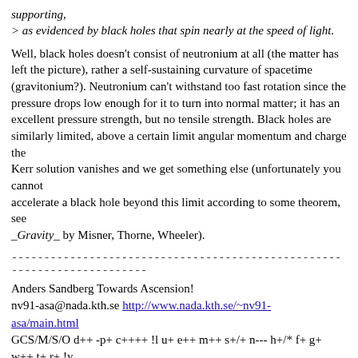supporting,
> as evidenced by black holes that spin nearly at the speed of light.
Well, black holes doesn't consist of neutronium at all (the matter has
left the picture), rather a self-sustaining curvature of spacetime
(gravitonium?). Neutronium can't withstand too fast rotation since the
pressure drops low enough for it to turn into normal matter; it has an
excellent pressure strength, but no tensile strength. Black holes are
similarly limited, above a certain limit angular momentum and charge the
Kerr solution vanishes and we get something else (unfortunately you cannot
accelerate a black hole beyond this limit according to some theorem, see
_Gravity_ by Misner, Thorne, Wheeler).
------------------------------------------------------------------------
Anders Sandberg Towards Ascension!
nv91-asa@nada.kth.se http://www.nada.kth.se/~nv91-asa/main.html
GCS/M/S/O d++ -p+ c++++ !l u+ e++ m++ s+/+ n--- h+/* f+ g+ w++ t+ r+ !y